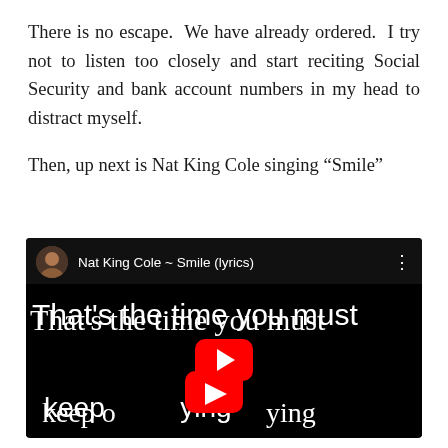There is no escape. We have already ordered. I try not to listen too closely and start reciting Social Security and bank account numbers in my head to distract myself.

Then, up next is Nat King Cole singing “Smile”
[Figure (screenshot): YouTube video embed showing 'Nat King Cole ~ Smile (lyrics)' with a black background, handwritten-style white lyric text reading 'That's the time you must' and 'keep on-ying' with a YouTube play button overlay in red]